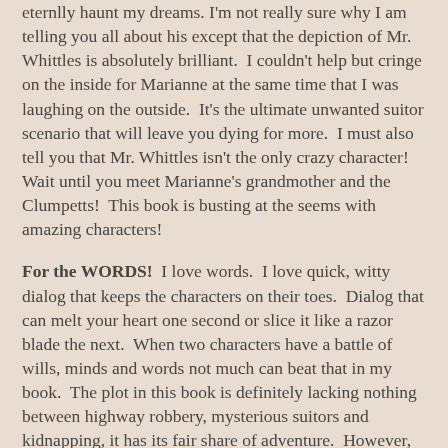eternlly haunt my dreams. I'm not really sure why I am telling you all about his except that the depiction of Mr. Whittles is absolutely brilliant. I couldn't help but cringe on the inside for Marianne at the same time that I was laughing on the outside. It's the ultimate unwanted suitor scenario that will leave you dying for more. I must also tell you that Mr. Whittles isn't the only crazy character! Wait until you meet Marianne's grandmother and the Clumpetts! This book is busting at the seems with amazing characters!
For the WORDS! I love words. I love quick, witty dialog that keeps the characters on their toes. Dialog that can melt your heart one second or slice it like a razor blade the next. When two characters have a battle of wills, minds and words not much can beat that in my book. The plot in this book is definitely lacking nothing between highway robbery, mysterious suitors and kidnapping, it has its fair share of adventure. However, even without the page-turning plot, this book could survive alone on it's spunky dialogue.
For the Love Letter Scene! Ok, I must find my fan before I write the next part! Holy guacamole Batman!!! There is a